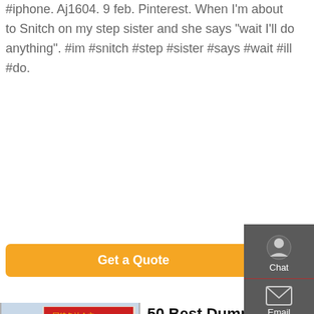#iphone. Aj1604. 9 feb. Pinterest. When I'm about to Snitch on my step sister and she says "wait I'll do anything". #im #snitch #step #sister #says #wait #ill #do.
Get a Quote
[Figure (photo): A white Sinotruk HOWO T7H tractor truck parked in front of a building with red Chinese characters on banners.]
50 Best Dump Memes - Merry Memes 😄
Absolute dump truck ass. 🔁 r/memes. 🔁 5 Before we heal the wounds let me just dump this salt. 🔁 30. 🔁 r/memes. 🔁 13